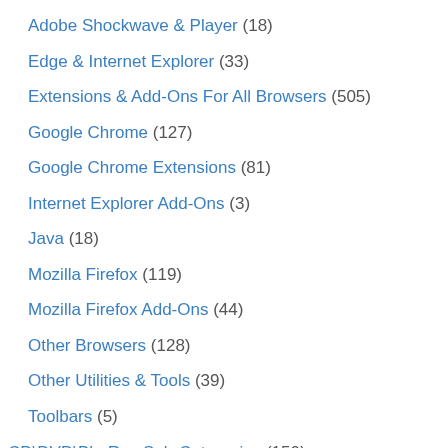Adobe Shockwave & Player (18)
Edge & Internet Explorer (33)
Extensions & Add-Ons For All Browsers (505)
Google Chrome (127)
Google Chrome Extensions (81)
Internet Explorer Add-Ons (3)
Java (18)
Mozilla Firefox (119)
Mozilla Firefox Add-Ons (44)
Other Browsers (128)
Other Utilities & Tools (39)
Toolbars (5)
CD\DVD\Blu-Ray Sub-Categories (150)
Burning Tools (46)